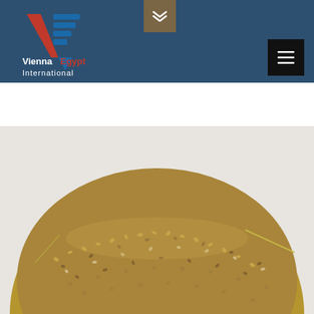[Figure (logo): Vienna Egypt International company logo with stylized V and horizontal blue stripes on dark blue header background]
[Figure (photo): Close-up photograph of a mound of small mixed seeds (possibly chia or mixed bird/grain seeds) in brown, tan and grey colors on a white background]